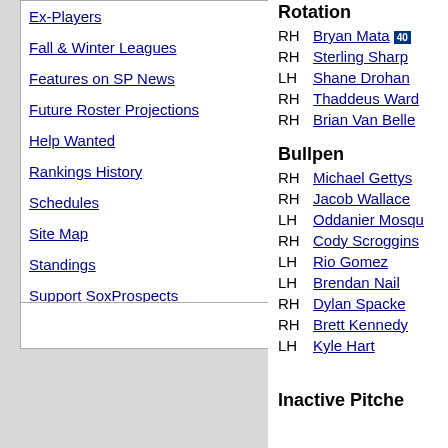Ex-Players
Fall & Winter Leagues
Features on SP News
Future Roster Projections
Help Wanted
Rankings History
Schedules
Site Map
Standings
Support SoxProspects
Rotation
RH Bryan Mata 40
RH Sterling Sharp
LH Shane Drohan
RH Thaddeus Ward
RH Brian Van Belle
Bullpen
RH Michael Gettys
RH Jacob Wallace
LH Oddanier Mosqu
RH Cody Scroggins
LH Rio Gomez
LH Brendan Nail
RH Dylan Spacke
RH Brett Kennedy
LH Kyle Hart
Inactive Pitche